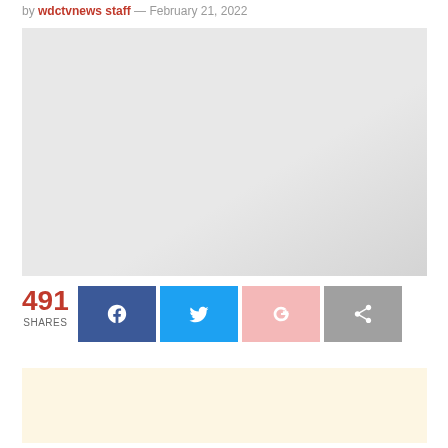by wdctvnews staff — February 21, 2022
[Figure (photo): Large light gray image placeholder area]
491 SHARES
[Figure (infographic): Social share buttons: Facebook, Twitter, Google+, and generic share button]
[Figure (other): Advertisement placeholder box with light yellow/cream background]